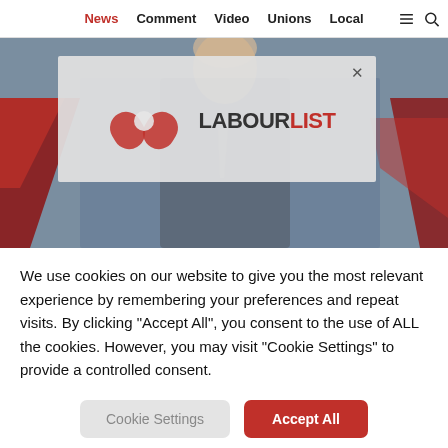News | Comment | Video | Unions | Local
[Figure (screenshot): LabourList website screenshot showing a modal with the LabourList logo (red bandage cross icon and LABOURLIST text) overlaid on a background image of a man in a suit at a podium with UK flags. A cookie consent dialog is displayed below.]
We use cookies on our website to give you the most relevant experience by remembering your preferences and repeat visits. By clicking “Accept All”, you consent to the use of ALL the cookies. However, you may visit "Cookie Settings" to provide a controlled consent.
Cookie Settings | Accept All